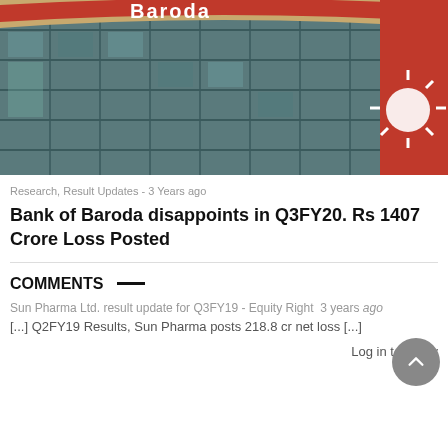[Figure (photo): Bank of Baroda building exterior with curved glass facade and large red signage showing 'Baroda' brand name]
Research, Result Updates - 3 Years ago
Bank of Baroda disappoints in Q3FY20. Rs 1407 Crore Loss Posted
COMMENTS —
Sun Pharma Ltd. result update for Q3FY19 - Equity Right 3 years ago
[...] Q2FY19 Results, Sun Pharma posts 218.8 cr net loss [...]
Log in to Reply